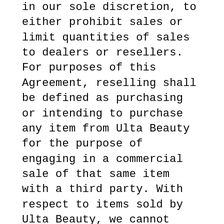in our sole discretion, to either prohibit sales or limit quantities of sales to dealers or resellers. For purposes of this Agreement, reselling shall be defined as purchasing or intending to purchase any item from Ulta Beauty for the purpose of engaging in a commercial sale of that same item with a third party. With respect to items sold by Ulta Beauty, we cannot confirm the price of an item until you order. Despite our best efforts, a small number of the items in our catalog may be mispriced. If the correct price of an item sold by Ulta Beauty is higher than our stated price, we will, at our discretion,